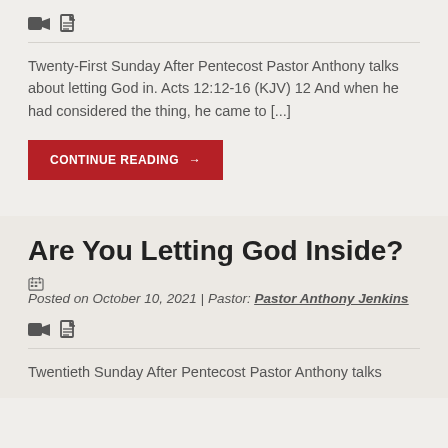[Figure (other): Video and document icons]
Twenty-First Sunday After Pentecost Pastor Anthony talks about letting God in. Acts 12:12-16 (KJV) 12 And when he had considered the thing, he came to [...]
CONTINUE READING →
Are You Letting God Inside?
Posted on October 10, 2021 | Pastor: Pastor Anthony Jenkins
[Figure (other): Video and document icons]
Twentieth Sunday After Pentecost Pastor Anthony talks